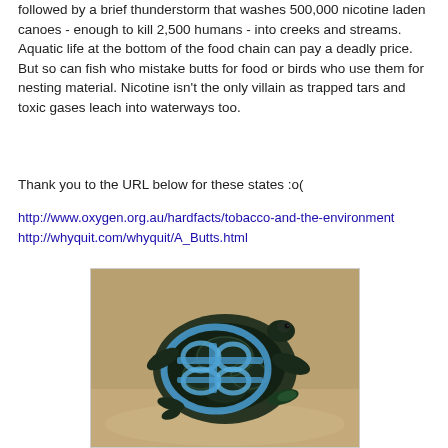followed by a brief thunderstorm that washes 500,000 nicotine laden canoes - enough to kill 2,500 humans - into creeks and streams.  Aquatic life at the bottom of the food chain can pay a deadly price. But so can fish who mistake butts for food or birds who use them for nesting material. Nicotine isn't the only villain as trapped tars and toxic gases leach into waterways too.
Thank you to the URL below for these states :o(
http://www.oxygen.org.au/hardfacts/tobacco-and-the-environment
http://whyquit.com/whyquit/A_Butts.html
[Figure (photo): A sea turtle lying on sand, entangled in a blue plastic six-pack ring holder that has deformed its shell.]